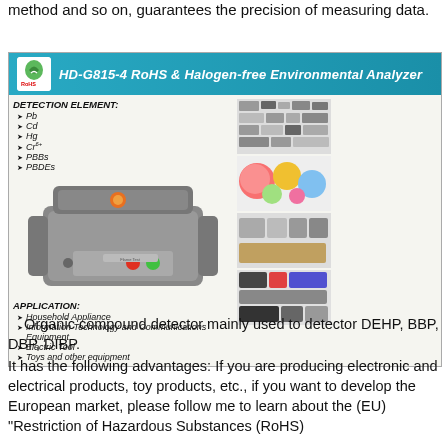method and so on, guarantees the precision of measuring data.
[Figure (photo): HD-G815-4 RoHS & Halogen-free Environmental Analyzer device image with detection elements listed (Pb, Cd, Hg, Cr6+, PBBs, PBDEs) and application categories (Household Appliance, Information Technology and Communications Equipment, Electric Tool, Toys and other equipment), with product sample photos on the right.]
Organic compound detector mainly used to detector DEHP, BBP, DBP, DIBP.
It has the following advantages: If you are producing electronic and electrical products, toy products, etc., if you want to develop the European market, please follow me to learn about the (EU) "Restriction of Hazardous Substances (RoHS)